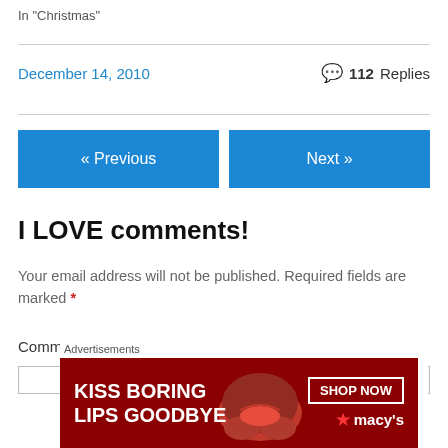In "Christmas"
December 14, 2010
112 Replies
« Previous
Next »
I LOVE comments!
Your email address will not be published. Required fields are marked *
Comment *
[Figure (screenshot): Macy's advertisement banner: KISS BORING LIPS GOODBYE with SHOP NOW button and Macy's star logo on dark red background]